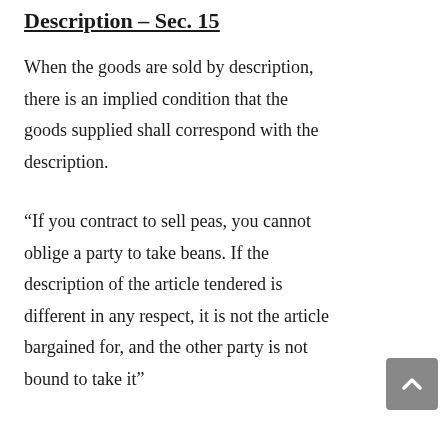Description – Sec. 15
When the goods are sold by description, there is an implied condition that the goods supplied shall correspond with the description.
“If you contract to sell peas, you cannot oblige a party to take beans. If the description of the article tendered is different in any respect, it is not the article bargained for, and the other party is not bound to take it”